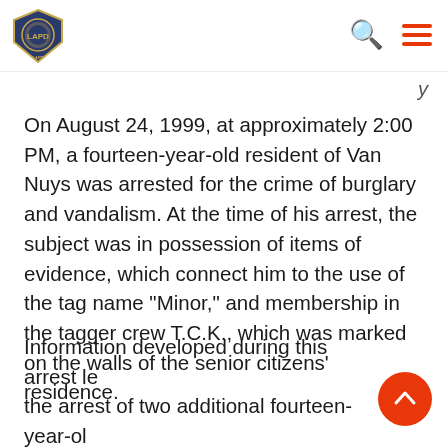LAPD logo and navigation header with search and menu icons
y
On August 24, 1999, at approximately 2:00 PM, a fourteen-year-old resident of Van Nuys was arrested for the crime of burglary and vandalism. At the time of his arrest, the subject was in possession of items of evidence, which connect him to the use of the tag name "Minor," and membership in the tagger crew T.C.K., which was marked on the walls of the senior citizens' residence.
Information developed during this arrest led the arrest of two additional fourteen-year-old male juveniles, both Van Nuys residents, and the